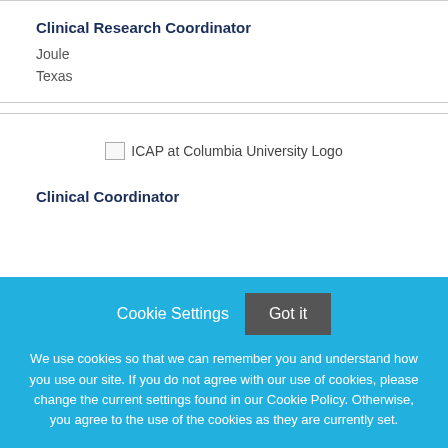Clinical Research Coordinator
Joule
Texas
[Figure (logo): ICAP at Columbia University Logo (broken image icon with alt text)]
Clinical Coordinator
Cookie Settings   Got it
We use cookies so that we can remember you and understand how you use our site. If you do not agree with our use of cookies, please change the current settings found in our Cookie Policy. Otherwise, you agree to the use of the cookies as they are currently set.